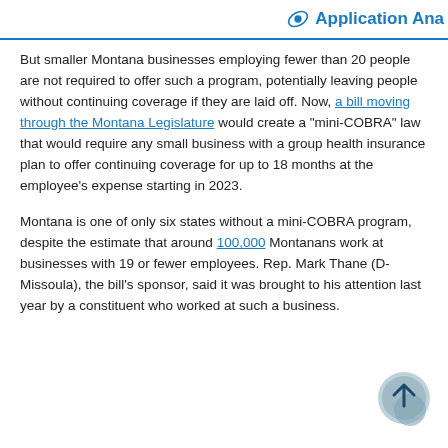Application Ana
But smaller Montana businesses employing fewer than 20 people are not required to offer such a program, potentially leaving people without continuing coverage if they are laid off. Now, a bill moving through the Montana Legislature would create a “mini-COBRA” law that would require any small business with a group health insurance plan to offer continuing coverage for up to 18 months at the employee’s expense starting in 2023.
Montana is one of only six states without a mini-COBRA program, despite the estimate that around 100,000 Montanans work at businesses with 19 or fewer employees. Rep. Mark Thane (D-Missoula), the bill’s sponsor, said it was brought to his attention last year by a constituent who worked at such a business.